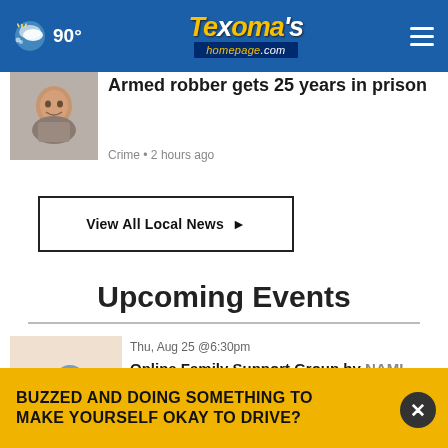90° Texoma's homepage.com
Armed robber gets 25 years in prison
Crime • 2 hours ago
View All Local News ▶
Upcoming Events
Thu, Aug 25 @6:30pm
Online Family Support Group by NAMI Central Texas
BUZZED AND DOING SOMETHING TO MAKE YOURSELF OKAY TO DRIVE?
Foster Care & Adoption Online Info